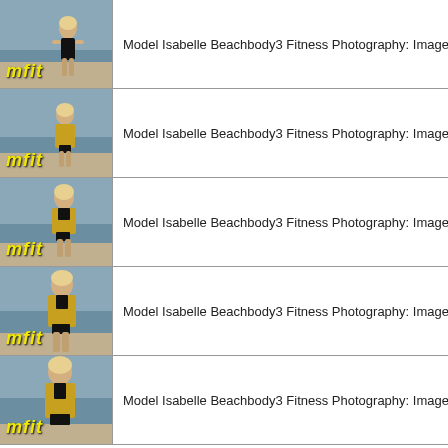[Figure (photo): Thumbnail photo of model Isabelle on beach with mfit watermark]
Model Isabelle Beachbody3 Fitness Photography: Image #:FITISA
[Figure (photo): Thumbnail photo of model Isabelle on beach with mfit watermark]
Model Isabelle Beachbody3 Fitness Photography: Image #:FITISA
[Figure (photo): Thumbnail photo of model Isabelle on beach with mfit watermark]
Model Isabelle Beachbody3 Fitness Photography: Image #:FITISA
[Figure (photo): Thumbnail photo of model Isabelle on beach with mfit watermark]
Model Isabelle Beachbody3 Fitness Photography: Image #:FITISA
[Figure (photo): Thumbnail photo of model Isabelle on beach with mfit watermark]
Model Isabelle Beachbody3 Fitness Photography: Image #:FITISA